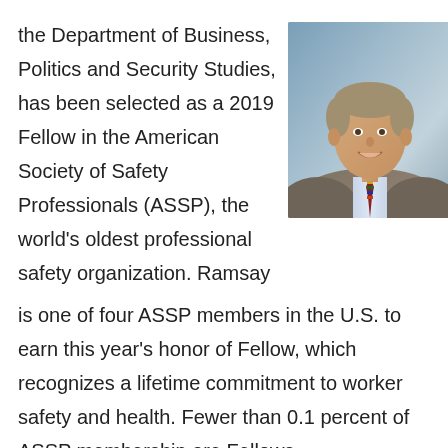the Department of Business, Politics and Security Studies, has been selected as a 2019 Fellow in the American Society of Safety Professionals (ASSP), the world's oldest professional safety organization. Ramsay is one of four ASSP members in the U.S. to earn this year's honor of Fellow, which recognizes a lifetime commitment to worker safety and health. Fewer than 0.1 percent of ASSP membership are Fellows.
[Figure (photo): Professional headshot of a man in a grey plaid blazer, light blue shirt and colorful tie, smiling, against a blue-grey studio background]
Ramsay was honored at ASSP's Safety 2019 Professional Development Conference and Exposition, where ASSP President Rixio Medina recognized the significant